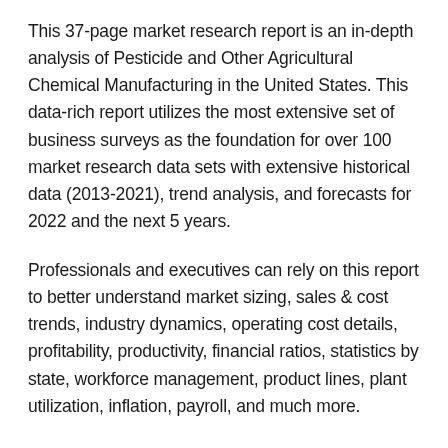This 37-page market research report is an in-depth analysis of Pesticide and Other Agricultural Chemical Manufacturing in the United States. This data-rich report utilizes the most extensive set of business surveys as the foundation for over 100 market research data sets with extensive historical data (2013-2021), trend analysis, and forecasts for 2022 and the next 5 years.
Professionals and executives can rely on this report to better understand market sizing, sales & cost trends, industry dynamics, operating cost details, profitability, productivity, financial ratios, statistics by state, workforce management, product lines, plant utilization, inflation, payroll, and much more.